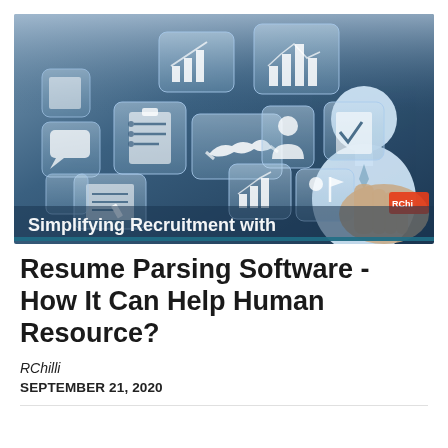[Figure (photo): A recruitment/HR technology themed banner image showing a person's hand pointing at glowing translucent icons including analytics charts, handshake, person silhouette, documents, and other business icons on a dark blue background. White text at bottom reads 'Simplifying Recruitment with']
Resume Parsing Software - How It Can Help Human Resource?
RChilli
SEPTEMBER 21, 2020